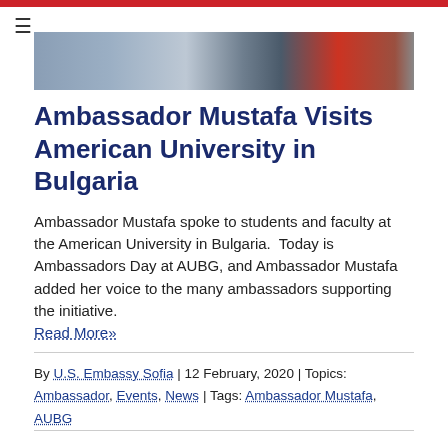[Figure (photo): Partial photo strip showing people standing, partially cropped at bottom of frame]
Ambassador Mustafa Visits American University in Bulgaria
Ambassador Mustafa spoke to students and faculty at the American University in Bulgaria.  Today is Ambassadors Day at AUBG, and Ambassador Mustafa added her voice to the many ambassadors supporting the initiative.
Read More»
By U.S. Embassy Sofia | 12 February, 2020 | Topics: Ambassador, Events, News | Tags: Ambassador Mustafa, AUBG